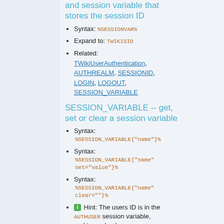and session variable that stores the session ID
Syntax: %SESSIONVAR%
Expand to: TWIKISID
Related: TWikiUserAuthentication, AUTHREALM, SESSIONID, LOGIN, LOGOUT, SESSION_VARIABLE
SESSION_VARIABLE -- get, set or clear a session variable
Syntax: %SESSION_VARIABLE{"name"}%
Syntax: %SESSION_VARIABLE{"name" set="value"}%
Syntax: %SESSION_VARIABLE{"name" clear=""}%
Hint: The users ID is in the AUTHUSER session variable, and is read only